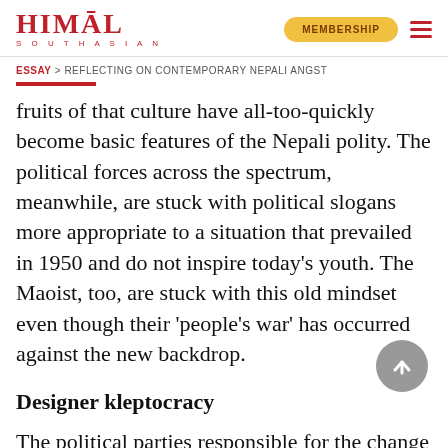HIMAL SOUTHASIAN — MEMBERSHIP
ESSAY > REFLECTING ON CONTEMPORARY NEPALI ANGST
fruits of that culture have all-too-quickly become basic features of the Nepali polity. The political forces across the spectrum, meanwhile, are stuck with political slogans more appropriate to a situation that prevailed in 1950 and do not inspire today's youth. The Maoist, too, are stuck with this old mindset even though their 'people's war' has occurred against the new backdrop.
Designer kleptocracy
The political parties responsible for the change in